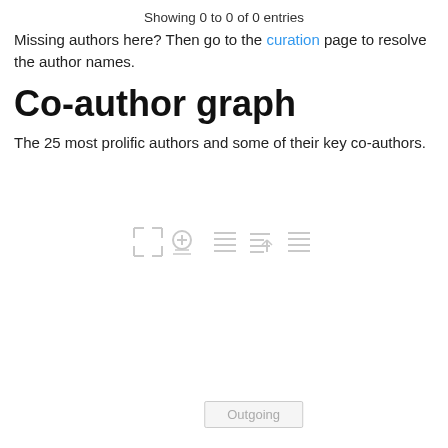Showing 0 to 0 of 0 entries
Missing authors here? Then go to the curation page to resolve the author names.
Co-author graph
The 25 most prolific authors and some of their key co-authors.
[Figure (other): Toolbar icons for graph interaction: expand, add node, filter, export, menu]
Outgoing